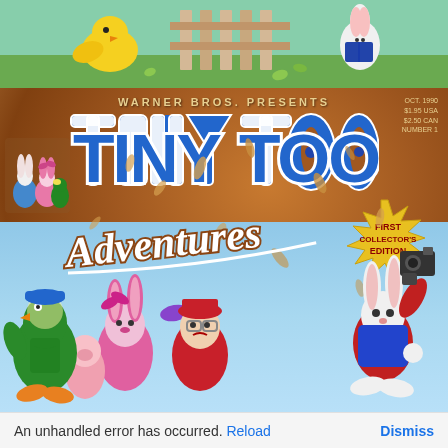[Figure (illustration): Top portion showing cartoon characters from Tiny Toon Adventures on a green outdoor background — a yellow chick and other characters near a fence]
[Figure (illustration): Warner Bros. Presents Tiny Toon Adventures comic book cover, First Collector's Edition, Oct 1990, $1.95 USA / $2.50 CAN, Number 1. Brown background with large blue 'Tiny Toon' logo and white cursive 'Adventures' text. Cartoon characters including Plucky Duck, Buster Bunny, Babs Bunny, Montana Max, and others. A gold starburst badge reads 'First Collector's Edition'.]
An unhandled error has occurred. Reload   Dismiss